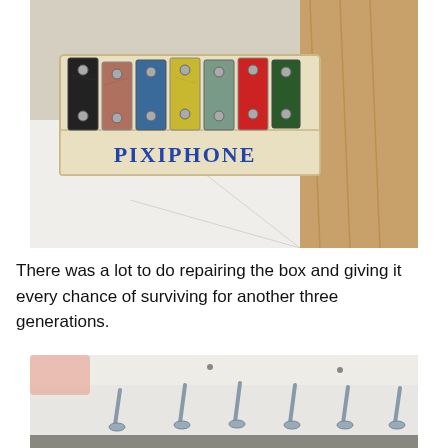[Figure (photo): A worn vintage Pixiphone toy xylophone with colorful metal bars (black, pink, blue, yellow, white, red, green, dark) mounted with metal screws on a cream-colored wooden box labeled 'PIXIPHONE' in blue letters, placed on a white surface with wooden objects in the background.]
There was a lot to do repairing the box and giving it every chance of surviving for another three generations.
[Figure (photo): Close-up photo of metal screws/bolts protruding from a white painted wooden surface, showing repair work in progress on the Pixiphone toy.]